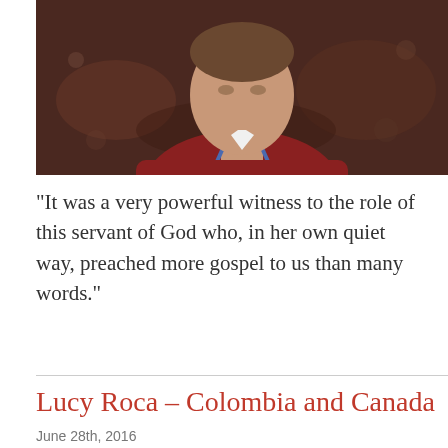[Figure (photo): Photo of a man wearing a dark red/maroon shirt with a lanyard, in a crowded background setting]
“It was a very powerful witness to the role of this servant of God who, in her own quiet way, preached more gospel to us than many words.”
Lucy Roca – Colombia and Canada
June 28th, 2016
[Figure (photo): Photo of a woman with dark hair, shown from shoulders up, in an indoor setting]